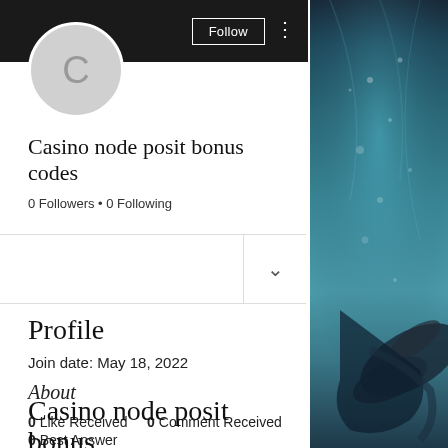[Figure (photo): Underwater swimmer photo on right side panel, blue-green tones]
[Figure (illustration): Gray circular avatar placeholder with letter C]
Casino node posit bonus codes
0 Followers • 0 Following
Profile
Join date: May 18, 2022
About
0 Like Received   0 Comment Received
0 Best Answer
Casino node posit bonus